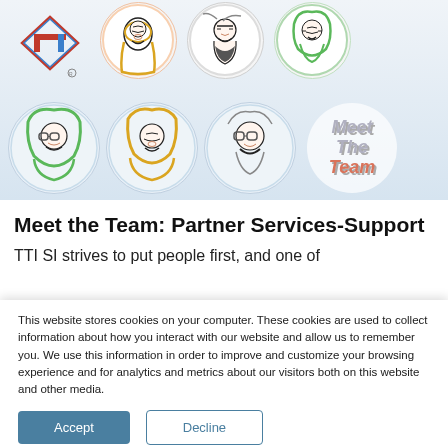[Figure (illustration): Team illustration banner with cartoon portrait avatars in circles and a TTI SI logo. Row 1 shows logo and three partial avatar portraits. Row 2 shows three full avatar portraits and 'Meet The Team' text badge.]
Meet the Team: Partner Services-Support
TTI SI strives to put people first, and one of
This website stores cookies on your computer. These cookies are used to collect information about how you interact with our website and allow us to remember you. We use this information in order to improve and customize your browsing experience and for analytics and metrics about our visitors both on this website and other media.
Accept
Decline